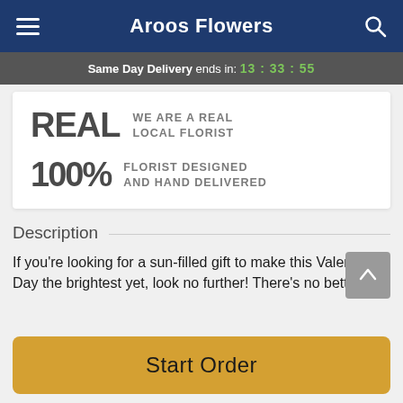Aroos Flowers
Same Day Delivery ends in: 13 : 33 : 55
REAL WE ARE A REAL LOCAL FLORIST
100% FLORIST DESIGNED AND HAND DELIVERED
Description
If you're looking for a sun-filled gift to make this Valentine's Day the brightest yet, look no further! There's no better way
Start Order